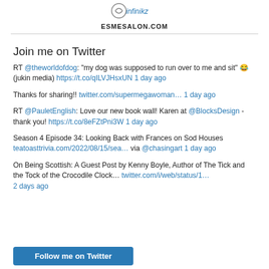[Figure (logo): Infinikz logo — circular icon with 'infinikz' text]
ESMESALON.COM
Join me on Twitter
RT @theworldofdog: "my dog was supposed to run over to me and sit" 😂 (jukin media) https://t.co/qILVJHsxUN 1 day ago
Thanks for sharing!! twitter.com/supermegawoman… 1 day ago
RT @PauletEnglish: Love our new book wall! Karen at @BlocksDesign - thank you! https://t.co/8eFZtPni3W 1 day ago
Season 4 Episode 34: Looking Back with Frances on Sod Houses teatoasttrivia.com/2022/08/15/sea… via @chasingart 1 day ago
On Being Scottish: A Guest Post by Kenny Boyle, Author of The Tick and the Tock of the Crocodile Clock… twitter.com/i/web/status/1… 2 days ago